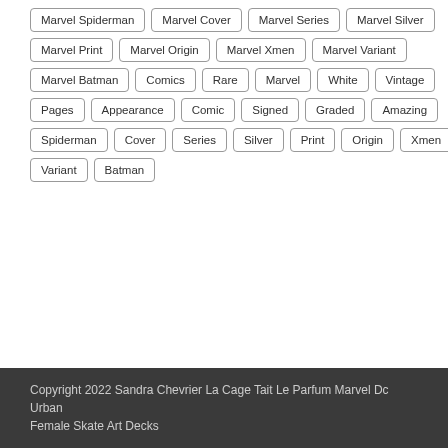Marvel Spiderman, Marvel Cover, Marvel Series, Marvel Silver
Marvel Print, Marvel Origin, Marvel Xmen, Marvel Variant
Marvel Batman, Comics, Rare, Marvel, White, Vintage
Pages, Appearance, Comic, Signed, Graded, Amazing
Spiderman, Cover, Series, Silver, Print, Origin, Xmen
Variant, Batman
Copyright 2022 Sandra Chevrier La Cage Tait Le Parfum Marvel Dc Urban Female Skate Art Decks